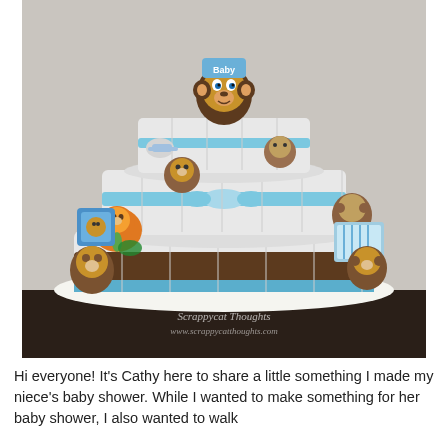[Figure (photo): A three-tiered diaper cake decorated with monkey-themed baby toys and accessories, including stuffed animal monkeys, baby rattles, a small blue crib toy, and a large monkey plush topper. The cake is decorated with blue ribbon and sits on a doily on a dark surface. A watermark reads 'Scrappycat Thoughts, www.scrappycatthoughts.com'.]
Hi everyone! It's Cathy here to share a little something I made my niece's baby shower. While I wanted to make something for her baby shower, I also wanted to walk